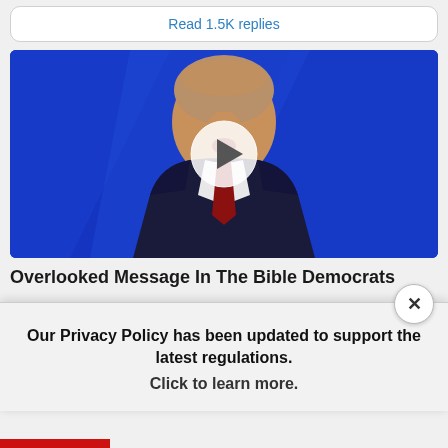Read 1.5K replies
[Figure (photo): Video thumbnail showing a man in a dark suit with a red tie speaking with mouth open, against a bright blue background. A white circular play button overlay is centered on the image.]
Overlooked Message In The Bible Democrats
Our Privacy Policy has been updated to support the latest regulations.
Click to learn more.